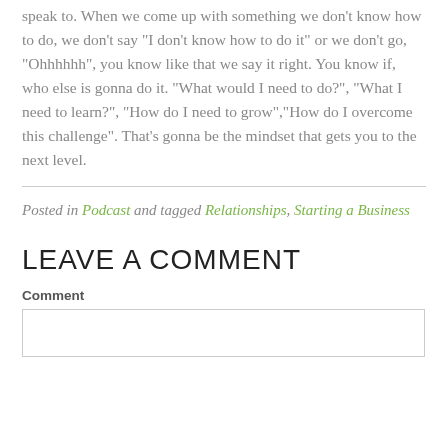speak to. When we come up with something we don’t know how to do, we don’t say “I don’t know how to do it” or we don’t go, “Ohhhhhh”, you know like that we say it right. You know if, who else is gonna do it. “What would I need to do?”, “What I need to learn?”, “How do I need to grow”,“How do I overcome this challenge”. That’s gonna be the mindset that gets you to the next level.
Posted in Podcast and tagged Relationships, Starting a Business